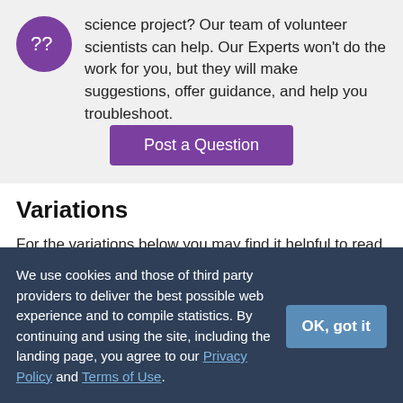science project? Our team of volunteer scientists can help. Our Experts won't do the work for you, but they will make suggestions, offer guidance, and help you troubleshoot.
Post a Question
Variations
For the variations below you may find it helpful to read about and follow the Engineering Design Process.
Try different probe coatings. Which probe coating(s)
We use cookies and those of third party providers to deliver the best possible web experience and to compile statistics. By continuing and using the site, including the landing page, you agree to our Privacy Policy and Terms of Use.
OK, got it